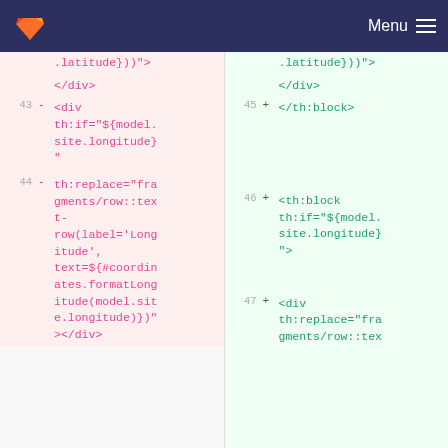GitLab — Menu
[Figure (screenshot): A GitLab code diff view showing HTML template changes. Left side (pink/removed) shows lines 43-44 with a div using th:if and th:replace for longitude. Right side (green/added) shows lines 45-47 with th:block and th:replace equivalents.]